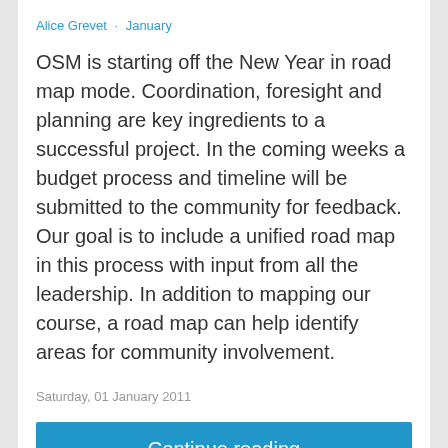Alice Grevet · January
OSM is starting off the New Year in road map mode. Coordination, foresight and planning are key ingredients to a successful project. In the coming weeks a budget process and timeline will be submitted to the community for feedback. Our goal is to include a unified road map in this process with input from all the leadership. In addition to mapping our course, a road map can help identify areas for community involvement.
Saturday, 01 January 2011
Continue reading
[Figure (screenshot): Screenshot of a Rental Quote web form with red header text and form fields, partially obscured by a dark overlay with an animal image.]